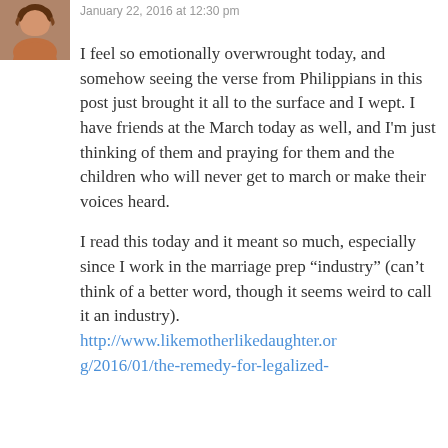[Figure (photo): Small circular avatar photo of a woman with curly brown hair]
January 22, 2016 at 12:30 pm
I feel so emotionally overwrought today, and somehow seeing the verse from Philippians in this post just brought it all to the surface and I wept. I have friends at the March today as well, and I'm just thinking of them and praying for them and the children who will never get to march or make their voices heard.
I read this today and it meant so much, especially since I work in the marriage prep “industry” (can’t think of a better word, though it seems weird to call it an industry). http://www.likemotherlikedaughter.org/2016/01/the-remedy-for-legalized-